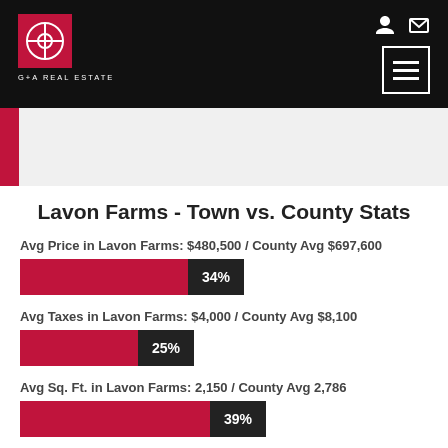[Figure (logo): G+A Real Estate logo: red square with white circular G+A icon, text 'G+A REAL ESTATE' below]
Lavon Farms - Town vs. County Stats
Avg Price in Lavon Farms: $480,500 / County Avg $697,600
[Figure (bar-chart): Avg Price]
Avg Taxes in Lavon Farms: $4,000 / County Avg $8,100
[Figure (bar-chart): Avg Taxes]
Avg Sq. Ft. in Lavon Farms: 2,150 / County Avg 2,786
[Figure (bar-chart): Avg Sq. Ft.]